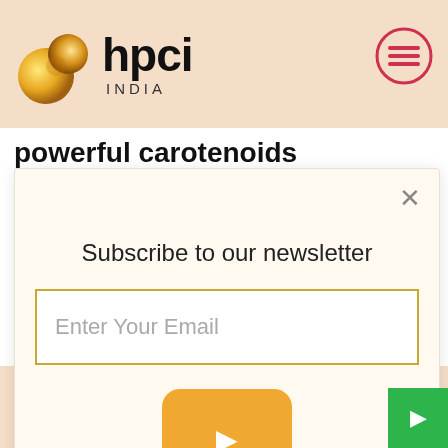[Figure (logo): hpci INDIA logo with golden circular fruit icon and hamburger menu icon in top right]
powerful carotenoids offering a unique and large spectrum of action against blue light-induced aging! So, bet on red (bell peppers) to shield
Subscribe to our newsletter
Enter Your Email
capitalize on this situation owing to our wide range of wellness products like disinfectants, sanitizers, more.